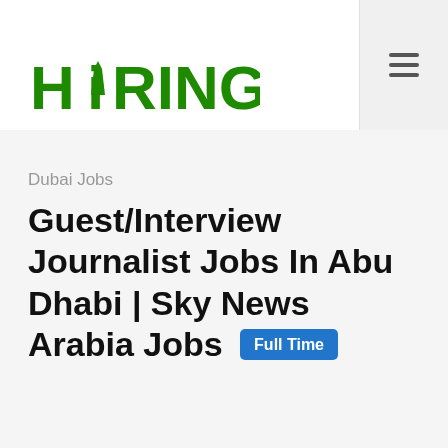HiRING
Dubai Jobs
Guest/Interview Journalist Jobs In Abu Dhabi | Sky News Arabia Jobs Full Time